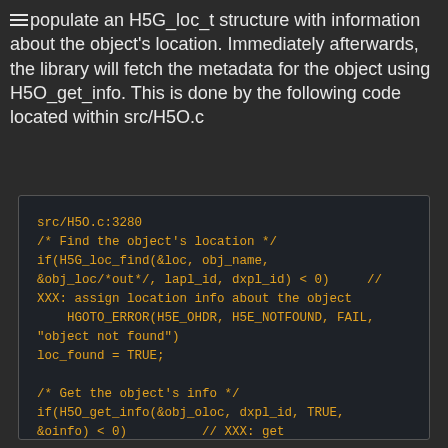populate an H5G_loc_t structure with information about the object's location. Immediately afterwards, the library will fetch the metadata for the object using H5O_get_info. This is done by the following code located within src/H5O.c
[Figure (screenshot): Code block showing C source code from src/H5O.c:3280. Code includes H5G_loc_find and H5O_get_info function calls with error handling via HGOTO_ERROR macros.]